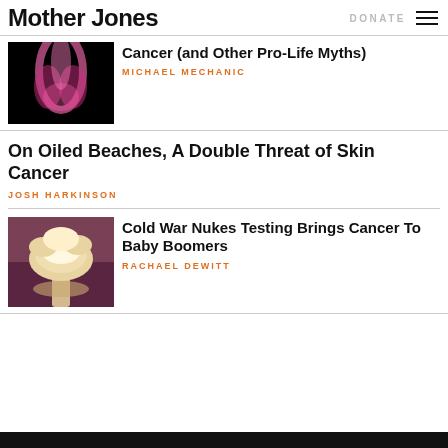Mother Jones | DONATE
Cancer (and Other Pro-Life Myths)
MICHAEL MECHANIC
On Oiled Beaches, A Double Threat of Skin Cancer
JOSH HARKINSON
[Figure (photo): Nuclear mushroom cloud explosion photo]
Cold War Nukes Testing Brings Cancer To Baby Boomers
RACHAEL DEWITT